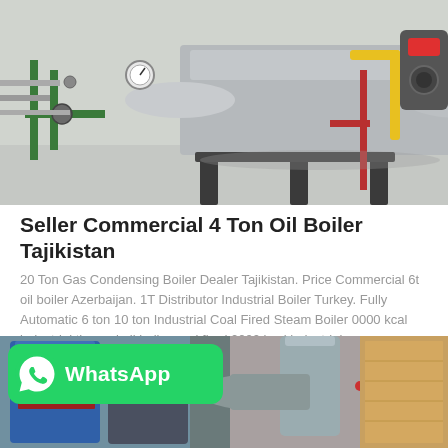[Figure (photo): Industrial oil/gas boiler installation in a facility, showing large cylindrical boiler tank, green and red pipes, yellow gas pipe, pressure gauges, and burner unit.]
Seller Commercial 4 Ton Oil Boiler Tajikistan
20 Ton Gas Condensing Boiler Dealer Tajikistan. Price Commercial 6t oil boiler Azerbaijan. 1T Distributor Industrial Boiler Turkey. Fully Automatic 6 ton 10 ton Industrial Coal Fired Steam Boiler 0000 kcal industrial thermal oil boiler coal fired 0000 kcal industrial…
[Figure (other): Get Price button (cyan/blue rounded rectangle)]
[Figure (photo): Bottom partial images: WhatsApp green pill logo overlay on left side, and partial photo of industrial boiler equipment (blue tank with FANGZUAN branding) and another photo of cylindrical tank near wooden board wall.]